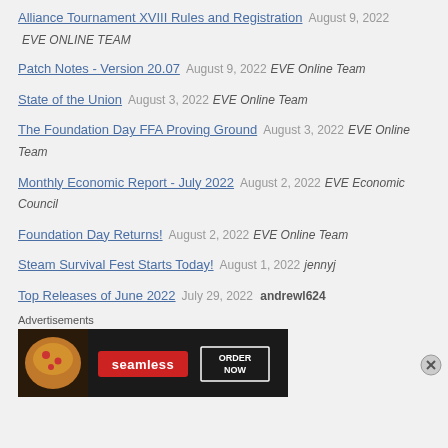Alliance Tournament XVIII Rules and Registration  August 9, 2022  EVE ONLINE TEAM
Patch Notes - Version 20.07  August 9, 2022  EVE Online Team
State of the Union  August 3, 2022  EVE Online Team
The Foundation Day FFA Proving Ground  August 3, 2022  EVE Online Team
Monthly Economic Report - July 2022  August 2, 2022  EVE Economic Council
Foundation Day Returns!  August 2, 2022  EVE Online Team
Steam Survival Fest Starts Today!  August 1, 2022  jennyj
Top Releases of June 2022  July 29, 2022  andrewl624
[Figure (infographic): Seamless food delivery advertisement banner showing pizza image on left, Seamless logo in red center, and ORDER NOW button on right with dark background]